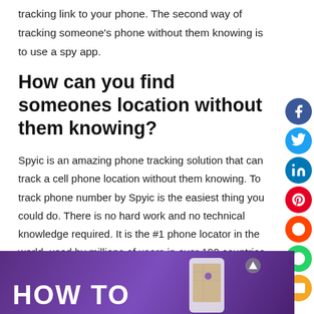tracking link to your phone. The second way of tracking someone's phone without them knowing is to use a spy app.
How can you find someones location without them knowing?
Spyic is an amazing phone tracking solution that can track a cell phone location without them knowing. To track phone number by Spyic is the easiest thing you could do. There is no hard work and no technical knowledge required. It is the #1 phone locator in the world, used by millions of users in over 190 countries.
[Figure (photo): Purple background image with HOW TO text and a hand holding a smartphone showing a map]